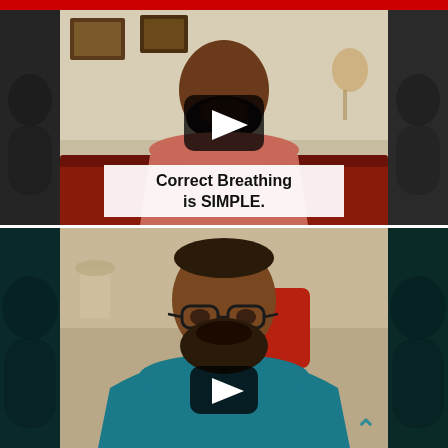[Figure (screenshot): Top video thumbnail: man in pink/salmon shirt with beard sitting on red sofa, room with framed pictures on wall, play button overlay, text caption 'Correct Breathing is SIMPLE.' on white background at bottom of video frame. Dark blurred side panels on left and right.]
[Figure (screenshot): Bottom video thumbnail: man in teal polo shirt wearing glasses with beard, sitting in room with red chair visible, play button overlay in center. Dark blurred side panels on left and right. Teal chevron/caret icon bottom right.]